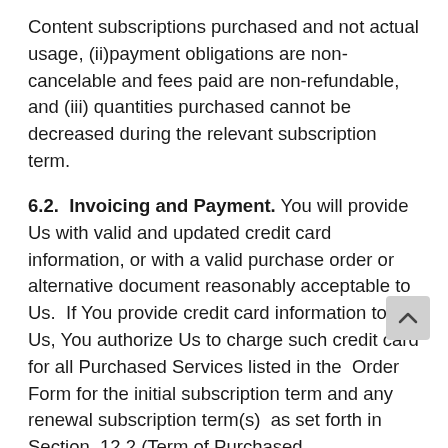Content subscriptions purchased and not actual usage, (ii)payment obligations are non-cancelable and fees paid are non-refundable, and (iii) quantities purchased cannot be decreased during the relevant subscription term.
6.2. Invoicing and Payment. You will provide Us with valid and updated credit card information, or with a valid purchase order or alternative document reasonably acceptable to Us. If You provide credit card information to Us, You authorize Us to charge such credit card for all Purchased Services listed in the Order Form for the initial subscription term and any renewal subscription term(s) as set forth in Section 12.2 (Term of Purchased Subscriptions). Such charges shall be made in advance, either annually or in accordance with any